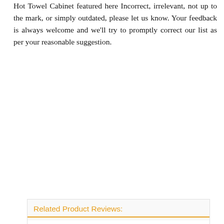Hot Towel Cabinet featured here Incorrect, irrelevant, not up to the mark, or simply outdated, please let us know. Your feedback is always welcome and we'll try to promptly correct our list as per your reasonable suggestion.
Related Product Reviews:
Top 10 Best neon clocks [2022]
Top 10 Best angel christmas tree topper [2022]
Top 10 Best quality mink blanket [2022]